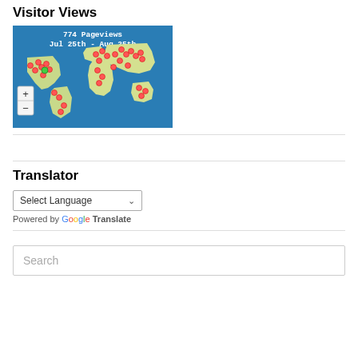Visitor Views
[Figure (map): World map showing 774 Pageviews from Jul 25th to Aug 25th, with red dot markers scattered across multiple continents, zoom +/- controls on the left side.]
Translator
Select Language
Powered by Google Translate
Search